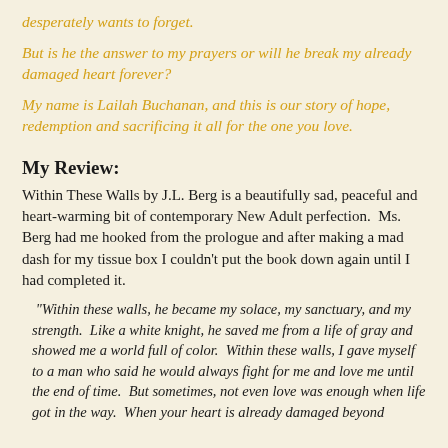desperately wants to forget.
But is he the answer to my prayers or will he break my already damaged heart forever?
My name is Lailah Buchanan, and this is our story of hope, redemption and sacrificing it all for the one you love.
My Review:
Within These Walls by J.L. Berg is a beautifully sad, peaceful and heart-warming bit of contemporary New Adult perfection.  Ms. Berg had me hooked from the prologue and after making a mad dash for my tissue box I couldn't put the book down again until I had completed it.
"Within these walls, he became my solace, my sanctuary, and my strength.  Like a white knight, he saved me from a life of gray and showed me a world full of color.  Within these walls, I gave myself to a man who said he would always fight for me and love me until the end of time.  But sometimes, not even love was enough when life got in the way.  When your heart is already damaged beyond